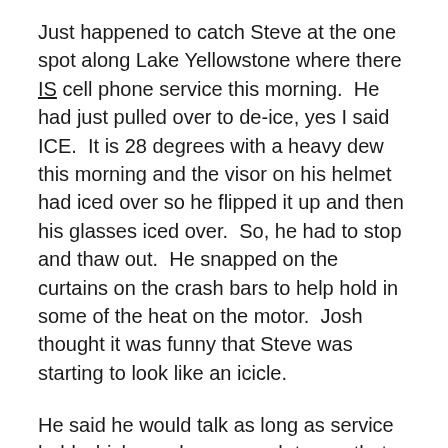Just happened to catch Steve at the one spot along Lake Yellowstone where there IS cell phone service this morning.  He had just pulled over to de-ice, yes I said ICE.  It is 28 degrees with a heavy dew this morning and the visor on his helmet had iced over so he flipped it up and then his glasses iced over.  So, he had to stop and thaw out.  He snapped on the curtains on the crash bars to help hold in some of the heat on the motor.  Josh thought it was funny that Steve was starting to look like an icicle.
He said he would talk as long as service held which was long enough to say that they all made it in yesterday and that he